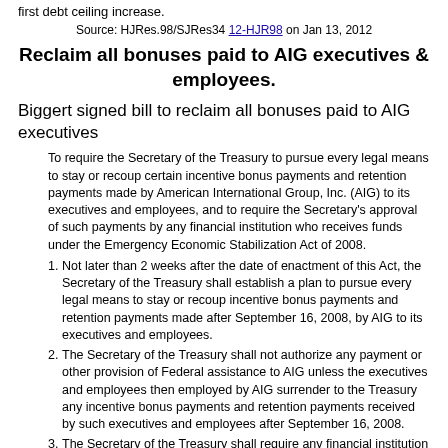first debt ceiling increase.
Source: HJRes.98/SJRes34 12-HJR98 on Jan 13, 2012
Reclaim all bonuses paid to AIG executives & employees.
Biggert signed bill to reclaim all bonuses paid to AIG executives
To require the Secretary of the Treasury to pursue every legal means to stay or recoup certain incentive bonus payments and retention payments made by American International Group, Inc. (AIG) to its executives and employees, and to require the Secretary's approval of such payments by any financial institution who receives funds under the Emergency Economic Stabilization Act of 2008.
Not later than 2 weeks after the date of enactment of this Act, the Secretary of the Treasury shall establish a plan to pursue every legal means to stay or recoup incentive bonus payments and retention payments made after September 16, 2008, by AIG to its executives and employees.
The Secretary of the Treasury shall not authorize any payment or other provision of Federal assistance to AIG unless the executives and employees then employed by AIG surrender to the Treasury any incentive bonus payments and retention payments received by such executives and employees after September 16, 2008.
The Secretary of the Treasury shall require any financial institution that has received any assistance under the Emergency Economic Stabilization Act, and that has not repaid in full such assistance, to submit incentive bonus and retention payment plans for approval by the Secretary before making any incentive bonus payment or retention payment to any executive or employee.